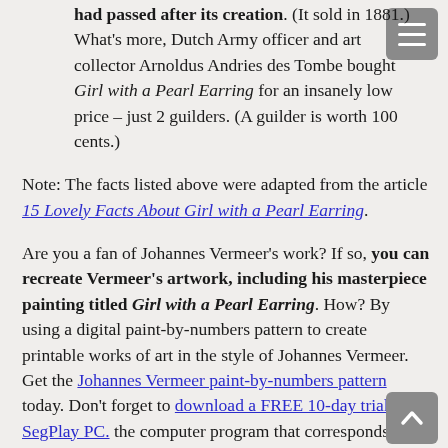had passed after its creation. (It sold in 1881.) What's more, Dutch Army officer and art collector Arnoldus Andries des Tombe bought Girl with a Pearl Earring for an insanely low price – just 2 guilders. (A guilder is worth 100 cents.)
Note: The facts listed above were adapted from the article 15 Lovely Facts About Girl with a Pearl Earring.
Are you a fan of Johannes Vermeer's work? If so, you can recreate Vermeer's artwork, including his masterpiece painting titled Girl with a Pearl Earring. How? By using a digital paint-by-numbers pattern to create printable works of art in the style of Johannes Vermeer. Get the Johannes Vermeer paint-by-numbers pattern today. Don't forget to download a FREE 10-day trial of SegPlay PC. the computer program that corresponds with the pattern. At this time, SegPlay PC is compatible with Windows PC.